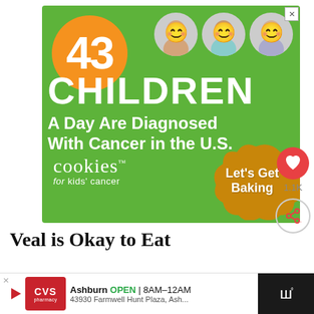[Figure (infographic): Advertisement banner with green background. Large orange circle with '43'. Three circular children photos. Bold white text: 'CHILDREN A Day Are Diagnosed With Cancer in the U.S.' Cookies for Kids' Cancer logo and 'Let's Get Baking' text over cookie shape.]
Veal is Okay to Eat
For as long as I can remember, veal has always been an option when it comes to m...
[Figure (infographic): What's Next widget showing 'The BEST Buffalo...' with food photo thumbnail]
[Figure (infographic): CVS Pharmacy bottom advertisement bar. Ashburn OPEN 8AM-12AM, 43930 Farmwell Hunt Plaza, Ash...]